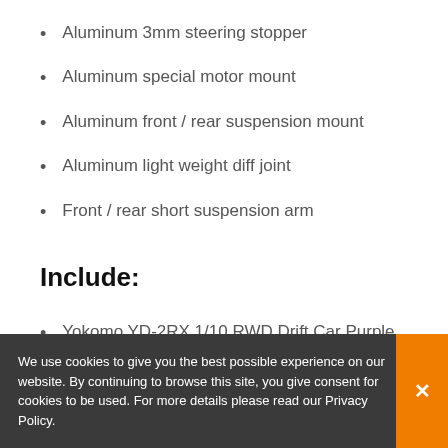Aluminum 3mm steering stopper
Aluminum special motor mount
Aluminum front / rear suspension mount
Aluminum light weight diff joint
Front / rear short suspension arm
Include:
Yokomo YD-2RX 1/10 RWD Drift Car Purple Limited Edition Chassis Kit EP (1 pc)
Required:
Motor
We use cookies to give you the best possible experience on our website. By continuing to browse this site, you give consent for cookies to be used. For more details please read our Privacy Policy.